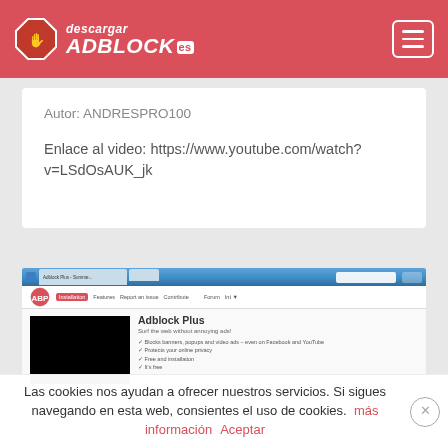descargar ADBLOCK es
Autor: ANDRESPRO100
Enlace al video: https://www.youtube.com/watch?v=LSdOsAUK_jk
[Figure (screenshot): Screenshot of Adblock Plus browser extension page showing ABP logo, navigation bar, video thumbnail (black), and Adblock Plus title with description text]
Las cookies nos ayudan a ofrecer nuestros servicios. Si sigues navegando en esta web, consientes el uso de cookies. más información   Aceptar